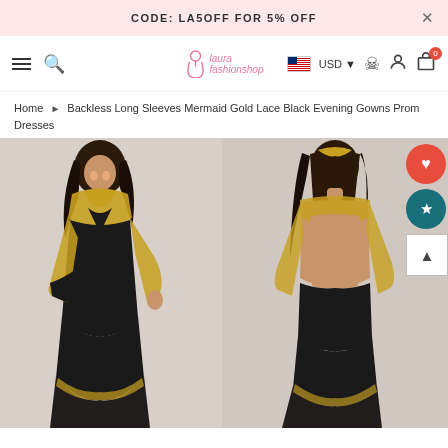CODE: LA5OFF FOR 5% OFF
[Figure (screenshot): E-commerce website navigation bar with hamburger menu, search icon, Laura Fashionshop logo, USD currency selector with US flag, user account icon, and cart icon showing 0 items]
Home › Backless Long Sleeves Mermaid Gold Lace Black Evening Gowns Prom Dresses
[Figure (photo): Two photos of a model wearing a backless long sleeves mermaid gold lace black evening gown prom dress. Left image shows front view, right image shows back/rear view of the dress.]